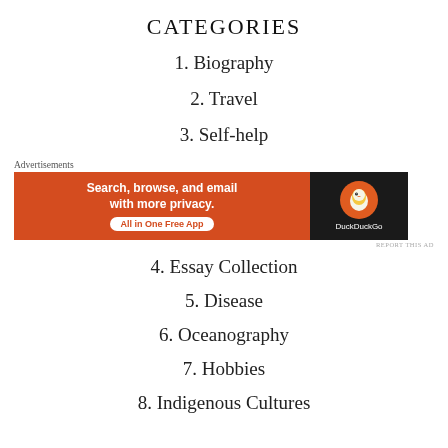CATEGORIES
1. Biography
2. Travel
3. Self-help
[Figure (infographic): DuckDuckGo advertisement banner: orange left panel with text 'Search, browse, and email with more privacy. All in One Free App' and dark right panel with DuckDuckGo duck logo and brand name.]
4. Essay Collection
5. Disease
6. Oceanography
7. Hobbies
8. Indigenous Cultures